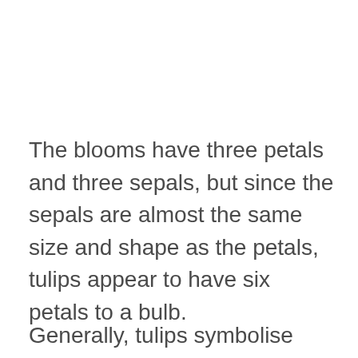The blooms have three petals and three sepals, but since the sepals are almost the same size and shape as the petals, tulips appear to have six petals to a bulb.
Generally, tulips symbolise love in